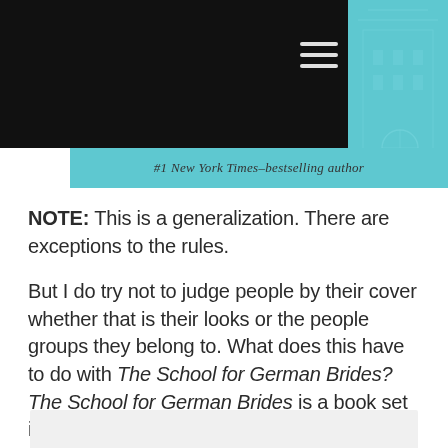[Figure (screenshot): Black header bar with hamburger menu icon, and teal/cyan decorative panel on the right side showing a faint building illustration]
#1 New York Times–bestselling author
NOTE: This is a generalization. There are exceptions to the rules.
But I do try not to judge people by their cover whether that is their looks or the people groups they belong to. What does this have to do with The School for German Brides? The School for German Brides is a book set in